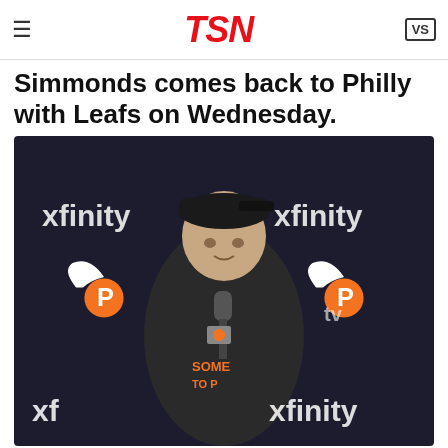TSN
Simmonds comes back to Philly with Leafs on Wednesday.
[Figure (photo): Wayne Simmonds at a press conference in front of Philadelphia Flyers and Xfinity branded backdrop, wearing a black Flyers t-shirt and backwards cap, speaking into a microphone.]